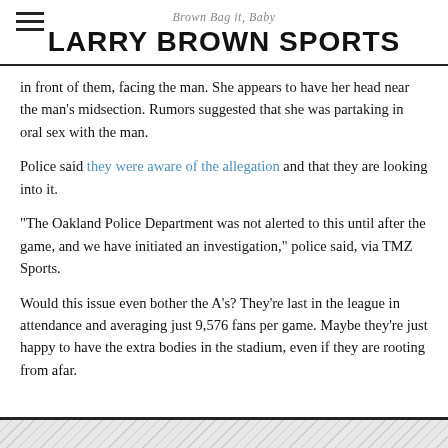Brown Bag it, Baby — LARRY BROWN SPORTS
in front of them, facing the man. She appears to have her head near the man’s midsection. Rumors suggested that she was partaking in oral sex with the man.
Police said they were aware of the allegation and that they are looking into it.
“The Oakland Police Department was not alerted to this until after the game, and we have initiated an investigation,” police said, via TMZ Sports.
Would this issue even bother the A’s? They’re last in the league in attendance and averaging just 9,576 fans per game. Maybe they’re just happy to have the extra bodies in the stadium, even if they are rooting from afar.